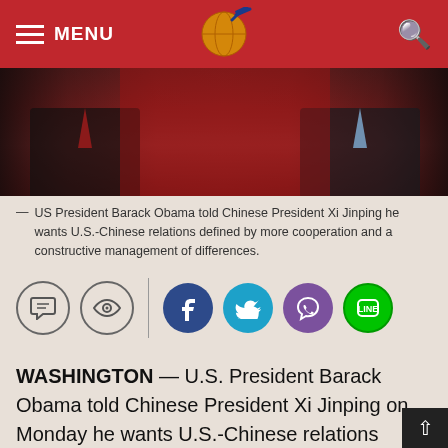MENU
[Figure (photo): Two men in suits standing in front of red flags, partial view from chest down]
US President Barack Obama told Chinese President Xi Jinping he wants U.S.-Chinese relations defined by more cooperation and a constructive management of differences.
[Figure (infographic): Social sharing icons: comment, eye/view, divider, Facebook, Twitter, Viber, Line]
WASHINGTON — U.S. President Barack Obama told Chinese President Xi Jinping on Monday he wants U.S.-Chinese relations defined by more cooperation and a constructive management of differences during a phone call in which Iran and North Korea were discussed.